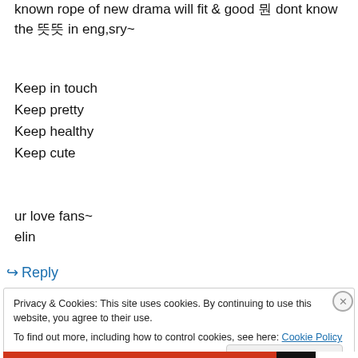known rope of new drama will fit & good 뭔 dont know the 뜻뜻 in eng,sry~
Keep in touch
Keep pretty
Keep healthy
Keep cute
ur love fans~
elin
↪ Reply
Privacy & Cookies: This site uses cookies. By continuing to use this website, you agree to their use.
To find out more, including how to control cookies, see here: Cookie Policy
Close and accept